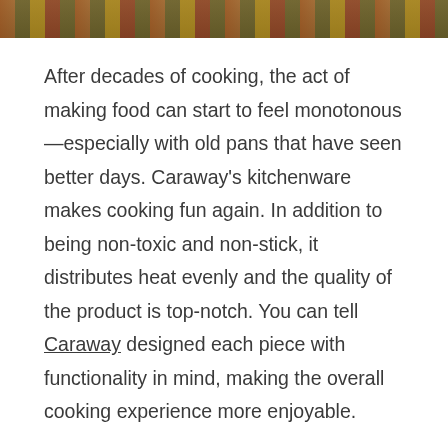[Figure (photo): Partial view of a wooden surface with colorful vegetables and produce arranged on it, bottom portion of a food/kitchen photograph.]
After decades of cooking, the act of making food can start to feel monotonous—especially with old pans that have seen better days. Caraway's kitchenware makes cooking fun again. In addition to being non-toxic and non-stick, it distributes heat evenly and the quality of the product is top-notch. You can tell Caraway designed each piece with functionality in mind, making the overall cooking experience more enjoyable.
Easy Breezy Kitchen Organization